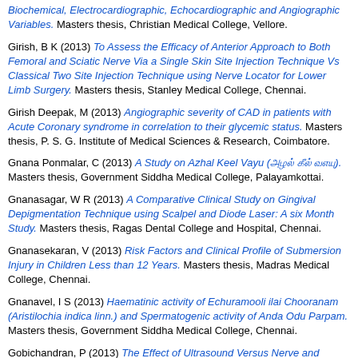Biochemical, Electrocardiographic, Echocardiographic and Angiographic Variables. Masters thesis, Christian Medical College, Vellore.
Girish, B K (2013) To Assess the Efficacy of Anterior Approach to Both Femoral and Sciatic Nerve Via a Single Skin Site Injection Technique Vs Classical Two Site Injection Technique using Nerve Locator for Lower Limb Surgery. Masters thesis, Stanley Medical College, Chennai.
Girish Deepak, M (2013) Angiographic severity of CAD in patients with Acute Coronary syndrome in correlation to their glycemic status. Masters thesis, P. S. G. Institute of Medical Sciences & Research, Coimbatore.
Gnana Ponmalar, C (2013) A Study on Azhal Keel Vayu (அழல் கீல் வாயு). Masters thesis, Government Siddha Medical College, Palayamkottai.
Gnanasagar, W R (2013) A Comparative Clinical Study on Gingival Depigmentation Technique using Scalpel and Diode Laser: A six Month Study. Masters thesis, Ragas Dental College and Hospital, Chennai.
Gnanasekaran, V (2013) Risk Factors and Clinical Profile of Submersion Injury in Children Less than 12 Years. Masters thesis, Madras Medical College, Chennai.
Gnanavel, I S (2013) Haematinic activity of Echuramooli ilai Chooranam (Aristilochia indica linn.) and Spermatogenic activity of Anda Odu Parpam. Masters thesis, Government Siddha Medical College, Chennai.
Gobichandran, P (2013) The Effect of Ultrasound Versus Nerve and Tendon Gliding Exercise on Pain and Functions in Patients with Carpal Tunnel Syndrome – A Comparative study. Masters thesis, K.M.C.H. College of Physiotherapy, Coimbatore.